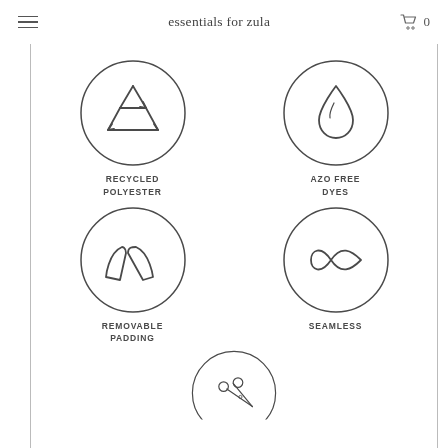essentials for zula
[Figure (illustration): Four circular icons arranged in a 2x2 grid: recycling arrows symbol, water drop symbol, two curved shapes (padding), infinity symbol. Plus a fifth partial circle at bottom with scissors symbol.]
RECYCLED POLYESTER
AZO FREE DYES
REMOVABLE PADDING
SEAMLESS